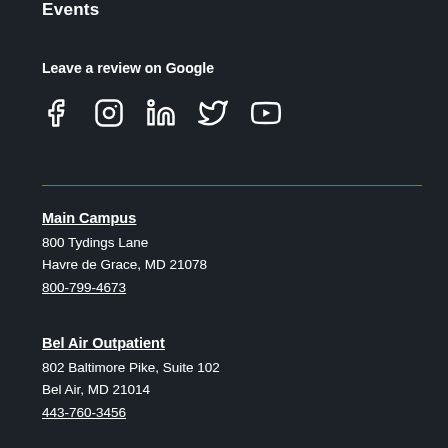Events
Leave a review on Google
[Figure (illustration): Row of social media icons: Facebook, Instagram, LinkedIn, Twitter, YouTube]
Main Campus
800 Tydings Lane
Havre de Grace, MD 21078
800-799-4673
Bel Air Outpatient
802 Baltimore Pike, Suite 102
Bel Air, MD 21014
443-760-3456